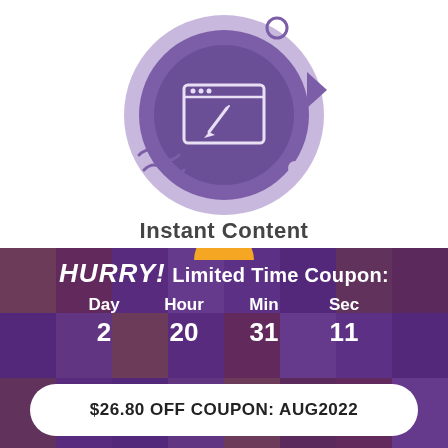[Figure (illustration): Purple circular icon with a browser/content editor window and pencil, with geometric decorative elements (circle, triangle, wavy lines) around it on a white background]
Instant Content
Skip writing anything with our automated content engine.
[Figure (infographic): Countdown timer banner with purple-overlaid mosaic of people faces. Shows 'HURRY! Limited Time Coupon:' with Day 2, Hour 20, Min 31, Sec 11. White pill button at bottom reads '$26.80 OFF COUPON: AUG2022']